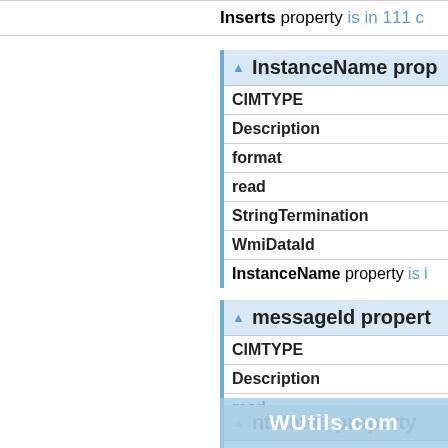Inserts property is in 111 c...
InstanceName prop...
| CIMTYPE |
| Description |
| format |
| read |
| StringTermination |
| WmiDataId |
InstanceName property is i...
messageId propert...
| CIMTYPE |
| Description |
| read |
| WmiDataId |
MessageId property is in 11...
ntstatus property
CIMTYPE